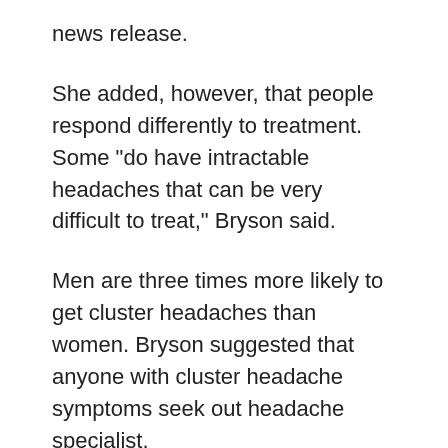news release.
She added, however, that people respond differently to treatment. Some "do have intractable headaches that can be very difficult to treat," Bryson said.
Men are three times more likely to get cluster headaches than women. Bryson suggested that anyone with cluster headache symptoms seek out headache specialist.
SOURCE: Wake Forest Baptist Medical Center, news release
Copyright © 2017 HealthDay. All rights reserved.